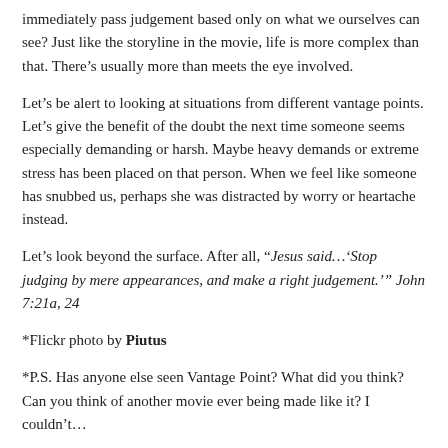immediately pass judgement based only on what we ourselves can see? Just like the storyline in the movie, life is more complex than that. There’s usually more than meets the eye involved.
Let’s be alert to looking at situations from different vantage points. Let’s give the benefit of the doubt the next time someone seems especially demanding or harsh. Maybe heavy demands or extreme stress has been placed on that person. When we feel like someone has snubbed us, perhaps she was distracted by worry or heartache instead.
Let’s look beyond the surface. After all, “Jesus said…‘Stop judging by mere appearances, and make a right judgement.’” John 7:21a, 24
*Flickr photo by Piutus
*P.S. Has anyone else seen Vantage Point? What did you think? Can you think of another movie ever being made like it? I couldn’t…
Share this: